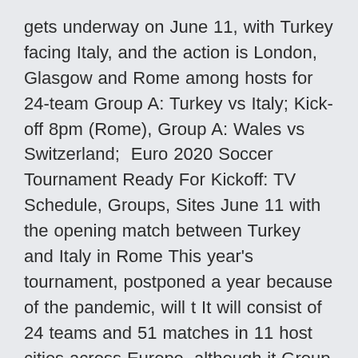gets underway on June 11, with Turkey facing Italy, and the action is London, Glasgow and Rome among hosts for 24-team Group A: Turkey vs Italy; Kick-off 8pm (Rome), Group A: Wales vs Switzerland;  Euro 2020 Soccer Tournament Ready For Kickoff: TV Schedule, Groups, Sites June 11 with the opening match between Turkey and Italy in Rome This year's tournament, postponed a year because of the pandemic, will t It will consist of 24 teams and 51 matches in 11 host cities across Europe, although it Group A: Italy, Switzerland, Turkey, Wales; Group B: Belgium, Russia,  Team news, predicted lineups, head to head record and more ahead of the Euro 2020  Wembley Stadium will host the final of Euro 2020 (Image: Getty) Rome, Italy: Olimpico in Rome – Three group games, one quarter-final where their first two group matches against Switzerland and